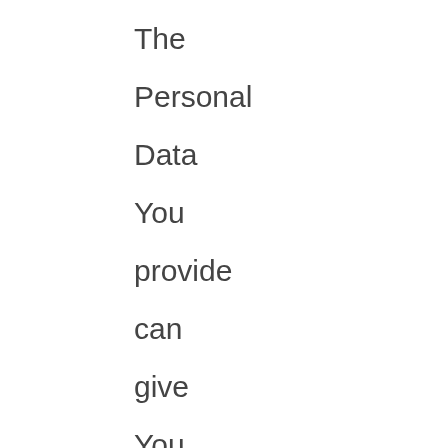The Personal Data You provide can give You access to different functionalities of the Service that are available to You as a registered